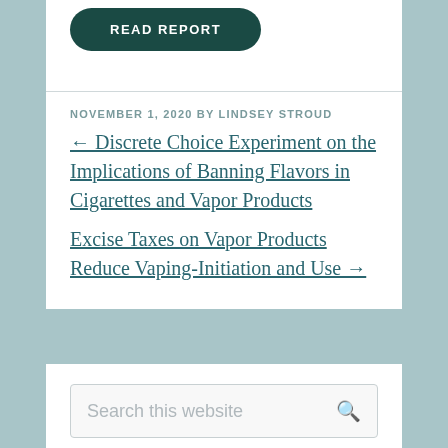[Figure (other): READ REPORT button with dark teal rounded rectangle background]
NOVEMBER 1, 2020 BY LINDSEY STROUD
← Discrete Choice Experiment on the Implications of Banning Flavors in Cigarettes and Vapor Products
Excise Taxes on Vapor Products Reduce Vaping-Initiation and Use →
[Figure (other): Search this website input box with magnifying glass icon]